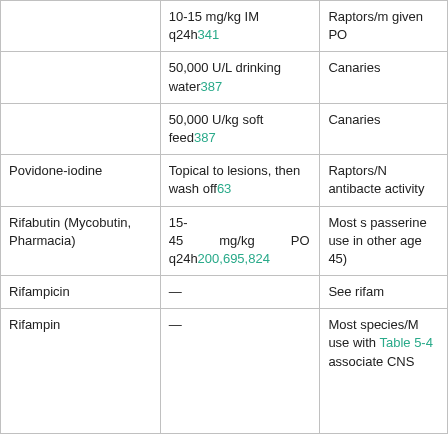|  | 10-15 mg/kg IM q24h341 | Raptors/m given PO |
|  | 50,000 U/L drinking water387 | Canaries |
|  | 50,000 U/kg soft feed387 | Canaries |
| Povidone-iodine | Topical to lesions, then wash off63 | Raptors/N antibacte activity |
| Rifabutin (Mycobutin, Pharmacia) | 15-45 mg/kg PO q24h200,695,824 | Most s passerine use in other age 45) |
| Rifampicin | — | See rifam |
| Rifampin | — | Most species/M use with Table 5-4 associate CNS |